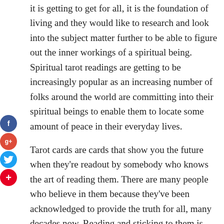it is getting to get for all, it is the foundation of living and they would like to research and look into the subject matter further to be able to figure out the inner workings of a spiritual being. Spiritual tarot readings are getting to be increasingly popular as an increasing number of folks around the world are committing into their spiritual beings to enable them to locate some amount of peace in their everyday lives.
Tarot cards are cards that show you the future when they're readout by somebody who knows the art of reading them. There are many people who believe in them because they've been acknowledged to provide the truth for all, many decades now. Reading and sticking to them is like following a course of a sacred journey and people literally snore what they say. You can also get more information about spiritual tarot reading via https://www.staciluna.com/tarot-card-
[Figure (infographic): Social sharing buttons: Facebook (blue circle with f), Google+ (red circle with g+), Twitter (blue circle with bird icon), Pinterest (red circle with + icon)]